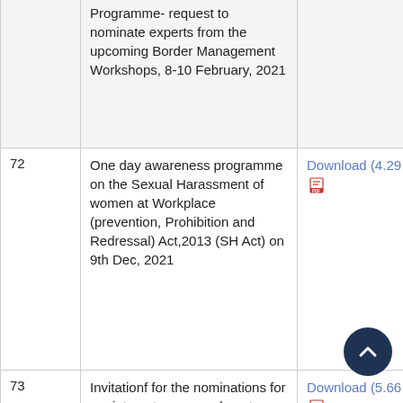| # | Description | Download | Date |
| --- | --- | --- | --- |
|  | Programme- request to nominate experts from the upcoming Border Management Workshops, 8-10 February, 2021 |  |  |
| 72 | One day awareness programme on the Sexual Harassment of women at Workplace (prevention, Prohibition and Redressal) Act,2013 (SH Act) on 9th Dec, 2021 | Download (4.29 MB) | 08-1 |
| 73 | Invitationf for the nominations for appintment on secondment basis against two posts in United Nations office | Download (5.66 MB) |  |